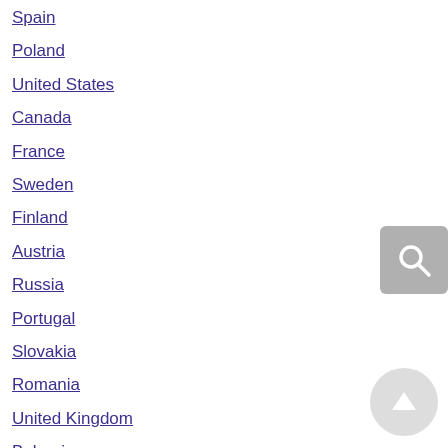Spain
Poland
United States
Canada
France
Sweden
Finland
Austria
Russia
Portugal
Slovakia
Romania
United Kingdom
Bulgaria
Czech Republic
Israel